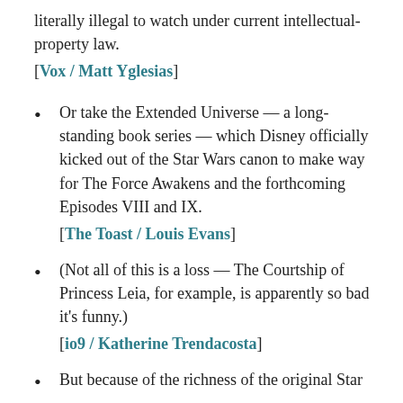literally illegal to watch under current intellectual-property law.
[Vox / Matt Yglesias]
Or take the Extended Universe — a long-standing book series — which Disney officially kicked out of the Star Wars canon to make way for The Force Awakens and the forthcoming Episodes VIII and IX.
[The Toast / Louis Evans]
(Not all of this is a loss — The Courtship of Princess Leia, for example, is apparently so bad it's funny.)
[io9 / Katherine Trendacosta]
But because of the richness of the original Star